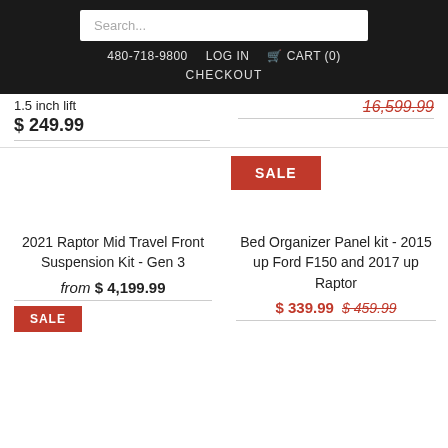Search... | 480-718-9800 LOG IN CART (0) CHECKOUT
1.5 Inch lift
$ 249.99
16,599.99 (strikethrough)
[Figure (other): SALE badge (red rectangle with white SALE text)]
2021 Raptor Mid Travel Front Suspension Kit - Gen 3
from $ 4,199.99
Bed Organizer Panel kit - 2015 up Ford F150 and 2017 up Raptor
$ 339.99 $ 459.99